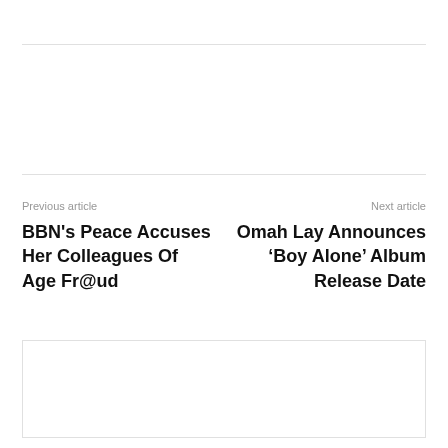Previous article
BBN's Peace Accuses Her Colleagues Of Age Fr@ud
Next article
Omah Lay Announces ‘Boy Alone’ Album Release Date